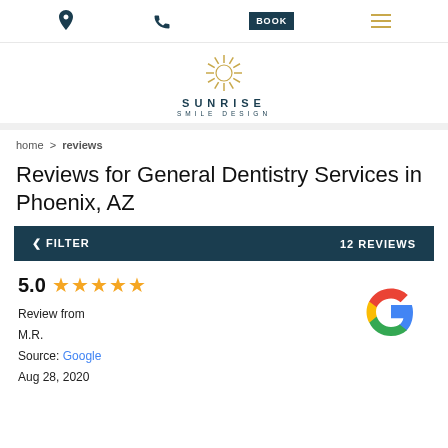Sunrise Smile Design navigation bar with location, phone, BOOK, and menu icons
[Figure (logo): Sunrise Smile Design logo with sunburst icon above text SUNRISE SMILE DESIGN]
home > reviews
Reviews for General Dentistry Services in Phoenix, AZ
< FILTER   12 REVIEWS
5.0 ★★★★★
Review from
M.R.
Source: Google
Aug 28, 2020